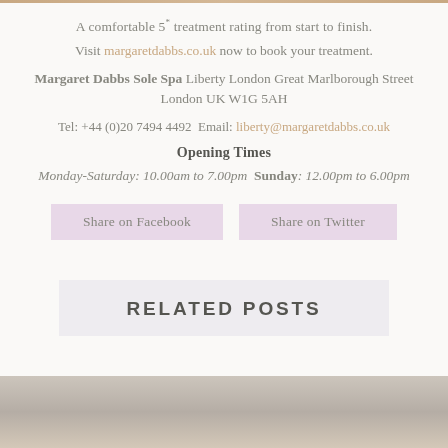A comfortable 5* treatment rating from start to finish.
Visit margaretdabbs.co.uk now to book your treatment.
Margaret Dabbs Sole Spa Liberty London Great Marlborough Street London UK W1G 5AH
Tel: +44 (0)20 7494 4492 Email: liberty@margaretdabbs.co.uk
Opening Times
Monday-Saturday: 10.00am to 7.00pm Sunday: 12.00pm to 6.00pm
Share on Facebook
Share on Twitter
RELATED POSTS
[Figure (photo): Bottom strip showing interior of spa room, partial view]